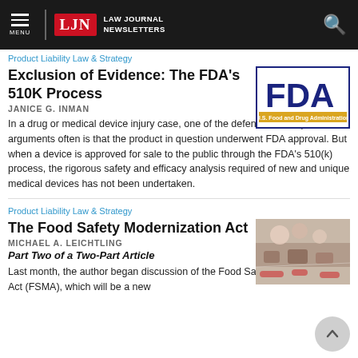LAW JOURNAL NEWSLETTERS
Product Liability Law & Strategy
Exclusion of Evidence: The FDA's 510K Process
JANICE G. INMAN
[Figure (logo): FDA - U.S. Food and Drug Administration logo in blue and gold on white background with border]
In a drug or medical device injury case, one of the defense's most potent arguments often is that the product in question underwent FDA approval. But when a device is approved for sale to the public through the FDA's 510(k) process, the rigorous safety and efficacy analysis required of new and unique medical devices has not been undertaken.
Product Liability Law & Strategy
The Food Safety Modernization Act
MICHAEL A. LEICHTLING
[Figure (photo): Photo of food processing/meat handling with gloved workers]
Part Two of a Two-Part Article
Last month, the author began discussion of the Food Safety Modernization Act (FSMA), which will be a new...